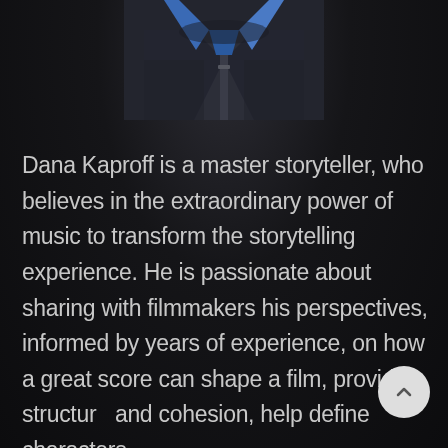[Figure (photo): Close-up photo of a person wearing a dark leather jacket with a blue scarf/collar, cropped to show the chest/neck area only, centered at top of page]
Dana Kaproff is a master storyteller, who believes in the extraordinary power of music to transform the storytelling experience. He is passionate about sharing with filmmakers his perspectives, informed by years of experience, on how a great score can shape a film, provide structure and cohesion, help define characters,